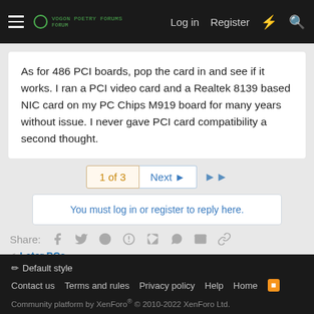Log in  Register
As for 486 PCI boards, pop the card in and see if it works. I ran a PCI video card and a Realtek 8139 based NIC card on my PC Chips M919 board for many years without issue. I never gave PCI card compatibility a second thought.
1 of 3  Next  ▶▶
You must log in or register to reply here.
Share:
< Later PCs
Default style  Contact us  Terms and rules  Privacy policy  Help  Home  Community platform by XenForo® © 2010-2022 XenForo Ltd.